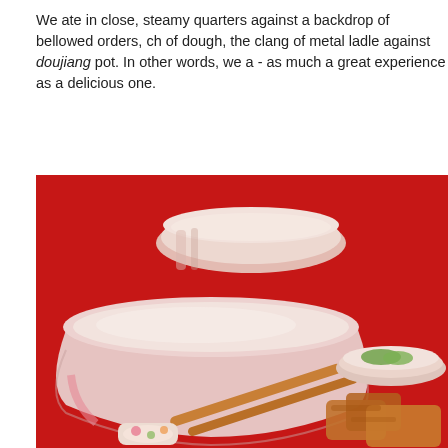We ate in close, steamy quarters against a backdrop of bellowed orders, ch of dough, the clang of metal ladle against doujiang pot. In other words, we a - as much a great experience as a delicious one.
[Figure (photo): Photo of Chinese breakfast bowls on a red table: a large white bowl of doujiang (soy milk) in the foreground, a smaller bowl behind it, a small bowl with green vegetables and fried food to the right, chopsticks in front, and a decorative chopstick rest.]